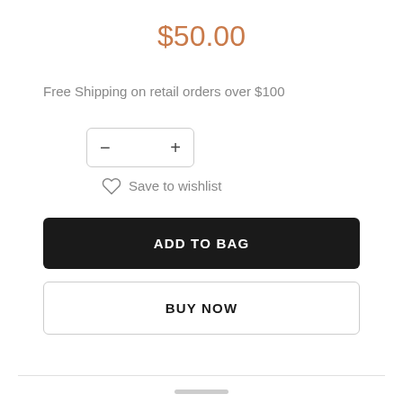$50.00
Free Shipping on retail orders over $100
[Figure (other): Quantity selector with minus and plus buttons inside a rounded rectangle border]
Save to wishlist
ADD TO BAG
BUY NOW